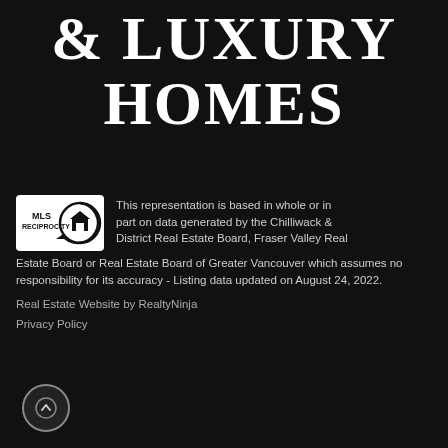& LUXURY HOMES
[Figure (logo): MLS Reciprocity logo — white box with 'MLS RECIPROCITY' text and house icon in a circular arrow]
This representation is based in whole or in part on data generated by the Chilliwack & District Real Estate Board, Fraser Valley Real Estate Board or Real Estate Board of Greater Vancouver which assumes no responsibility for its accuracy - Listing data updated on August 24, 2022.
Real Estate Website by RealtyNinja
Privacy Policy
[Figure (other): Circular up-arrow button / scroll-to-top icon]